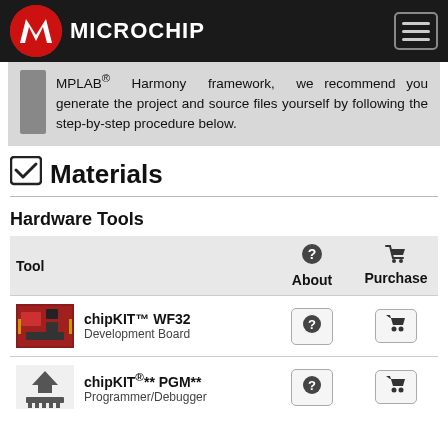Microchip
MPLAB® Harmony framework, we recommend you generate the project and source files yourself by following the step-by-step procedure below.
✓ Materials
Hardware Tools
| Tool | About | Purchase |
| --- | --- | --- |
| chipKIT™ WF32 Development Board | ? | 🛒 |
| chipKIT®** PGM** Programmer/Debugger | ? | 🛒 |